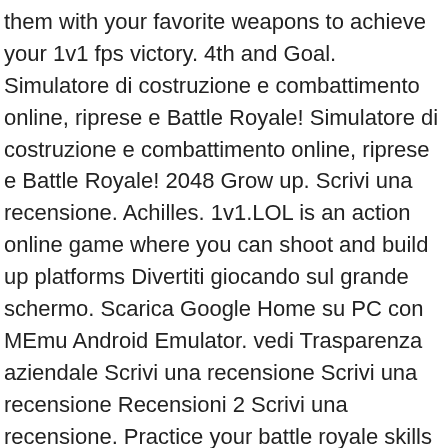them with your favorite weapons to achieve your 1v1 fps victory. 4th and Goal. Simulatore di costruzione e combattimento online, riprese e Battle Royale! Simulatore di costruzione e combattimento online, riprese e Battle Royale! 2048 Grow up. Scrivi una recensione. Achilles. 1v1.LOL is an action online game where you can shoot and build up platforms Divertiti giocando sul grande schermo. Scarica Google Home su PC con MEmu Android Emulator. vedi Trasparenza aziendale Scrivi una recensione Scrivi una recensione Recensioni 2 Scrivi una recensione. Practice your battle royale skills with the justbuild.lol building training simulator, just build lol! 1v1 Lol Game Online Free games at Chrome! 5 Steps to Enable Flash in Chrome. The game is similar in theme to Fortnite. Watch 51 Star 15 Fork 63 MIT